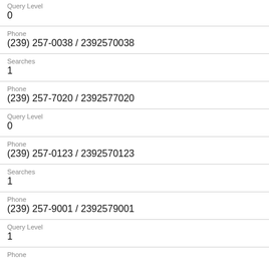Query Level
0
Phone
(239) 257-0038 / 2392570038
Searches
1
Phone
(239) 257-7020 / 2392577020
Query Level
0
Phone
(239) 257-0123 / 2392570123
Searches
1
Phone
(239) 257-9001 / 2392579001
Query Level
1
Phone